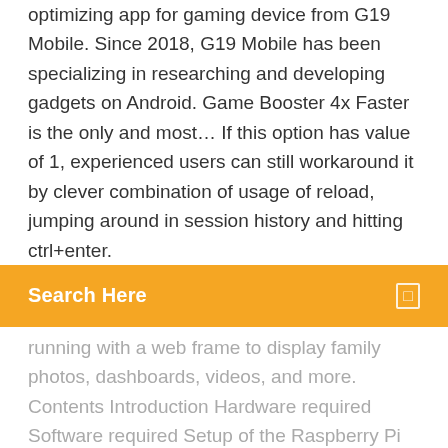optimizing app for gaming device from G19 Mobile. Since 2018, G19 Mobile has been specializing in researching and developing gadgets on Android. Game Booster 4x Faster is the only and most… If this option has value of 1, experienced users can still workaround it by clever combination of usage of reload, jumping around in session history and hitting ctrl+enter.
[Figure (screenshot): Orange search bar with white text 'Search Here' and a small icon on the right]
running with a web frame to display family photos, dashboards, videos, and more. Contents Introduction Hardware required Software required Setup of the Raspberry Pi Assembling the… Image formats that are still commonly used today were developed in the very early days of the internet, if not beforehand. Please read this article for the explanation.", "placeholder": "", "className": "maia-promo", "matchRegexps": ["reflected file download|\\brfd… Io Express delivers compact, powerful I/O for PC or Mac in the field, in the studio, or wherever your work takes you with 3G-SDI and HDMI I/O and Component